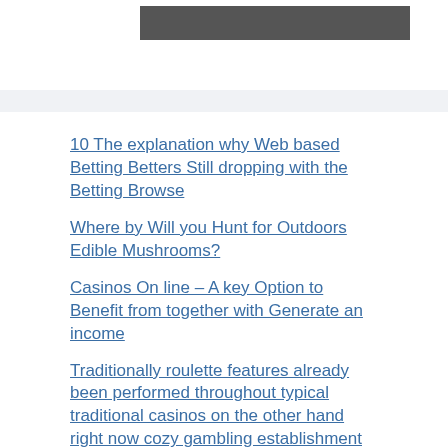[Figure (other): Dark gray/charcoal rectangular banner or header image placeholder]
10 The explanation why Web based Betting Betters Still dropping with the Betting Browse
Where by Will you Hunt for Outdoors Edible Mushrooms?
Casinos On line – A key Option to Benefit from together with Generate an income
Traditionally roulette features already been performed throughout typical traditional casinos on the other hand right now cozy gambling establishment casino on the web
Critical Measures to visit throughout Using